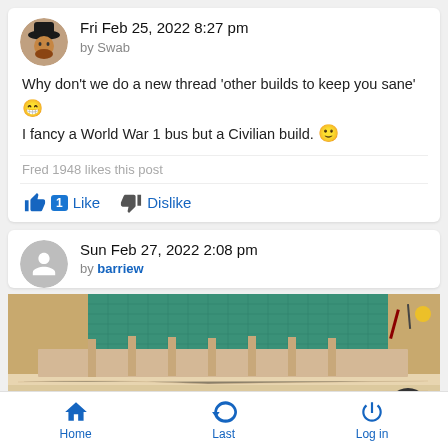Fri Feb 25, 2022 8:27 pm
by Swab
Why don't we do a new thread 'other builds to keep you sane' 😁
I fancy a World War 1 bus but a Civilian build. 🙂
Fred 1948 likes this post
1  Like    Dislike
Sun Feb 27, 2022 2:08 pm
by barriew
[Figure (photo): A wooden model bus frame/structure being built on a workbench with a green cutting mat in the background]
Home    Last    Log in